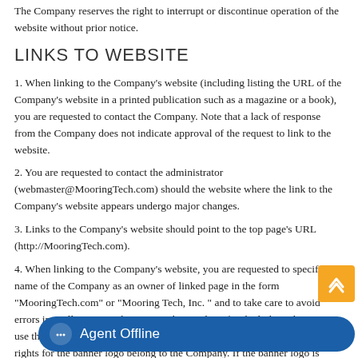The Company reserves the right to interrupt or discontinue operation of the website without prior notice.
LINKS TO WEBSITE
1. When linking to the Company's website (including listing the URL of the Company's website in a printed publication such as a magazine or a book), you are requested to contact the Company. Note that a lack of response from the Company does not indicate approval of the request to link to the website.
2. You are requested to contact the administrator (webmaster@MooringTech.com) should the website where the link to the Company's website appears undergo major changes.
3. Links to the Company's website should point to the top page's URL (http://MooringTech.com).
4. When linking to the Company's website, you are requested to specify the name of the Company as an owner of linked page in the form "MooringTech.com" or "Mooring Tech, Inc. " and to take care to avoid errors in spelling, etc. When using a banner logo for the link, make sure to use the banner logo shown below. Trademark and intellectual property rights for the banner logo belong to the Company. If the banner logo is used, it must not be modified or changed (size, shape, color, text, etc.).
5.) Linking to the Company's website is not permitted if any of the